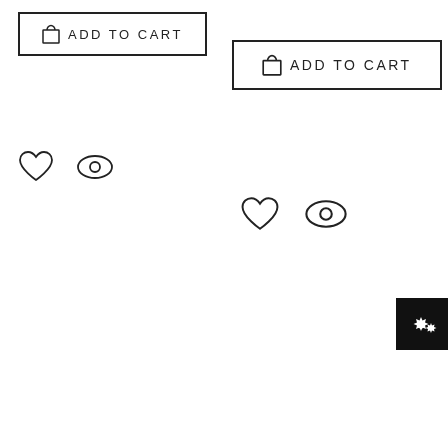[Figure (screenshot): Add to Cart button (left), with shopping bag icon and uppercase text 'ADD TO CART', outlined rectangle style]
[Figure (screenshot): Add to Cart button (right), with shopping bag icon and uppercase text 'ADD TO CART', outlined rectangle style]
[Figure (screenshot): Heart (wishlist) icon and eye (quick view) icon, left side]
[Figure (screenshot): Heart (wishlist) icon and eye (quick view) icon, center-right side]
[Figure (screenshot): Black settings/gear button in the top-right corner, partially cropped]